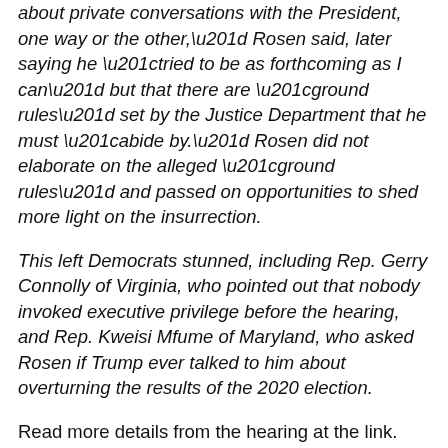about private conversations with the President, one way or the other," Rosen said, later saying he "tried to be as forthcoming as I can" but that there are "ground rules" set by the Justice Department that he must "abide by." Rosen did not elaborate on the alleged "ground rules" and passed on opportunities to shed more light on the insurrection.
This left Democrats stunned, including Rep. Gerry Connolly of Virginia, who pointed out that nobody invoked executive privilege before the hearing, and Rep. Kweisi Mfume of Maryland, who asked Rosen if Trump ever talked to him about overturning the results of the 2020 election.
Read more details from the hearing at the link.
Hayes Brown at MSNBC: GOP lies about Jan. 6 are getting bolder — and more dangerous.